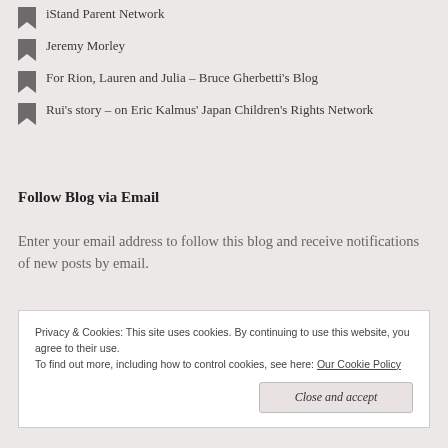iStand Parent Network
Jeremy Morley
For Rion, Lauren and Julia – Bruce Gherbetti's Blog
Rui's story – on Eric Kalmus' Japan Children's Rights Network
Follow Blog via Email
Enter your email address to follow this blog and receive notifications of new posts by email.
Privacy & Cookies: This site uses cookies. By continuing to use this website, you agree to their use.
To find out more, including how to control cookies, see here: Our Cookie Policy
Close and accept